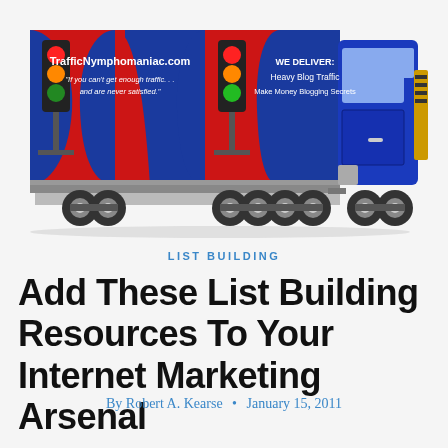[Figure (illustration): A large delivery truck with red and blue trailer. The trailer displays 'TrafficNymphomaniac.com' and the text 'If you can't get enough traffic... and are never satisfied.' along with two traffic lights. The right side shows 'WE DELIVER: Heavy Blog Traffic Make Money Blogging Secrets'. The cab is blue.]
LIST BUILDING
Add These List Building Resources To Your Internet Marketing Arsenal
By Robert A. Kearse • January 15, 2011